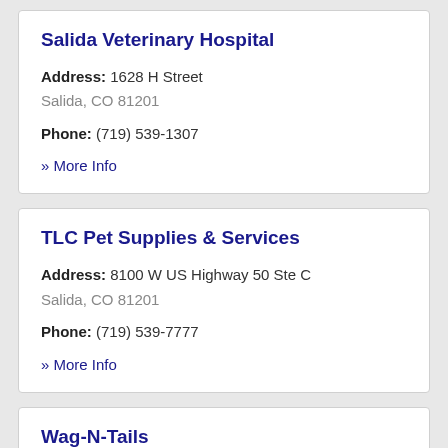Salida Veterinary Hospital
Address: 1628 H Street
Salida, CO 81201
Phone: (719) 539-1307
» More Info
TLC Pet Supplies & Services
Address: 8100 W US Highway 50 Ste C
Salida, CO 81201
Phone: (719) 539-7777
» More Info
Wag-N-Tails